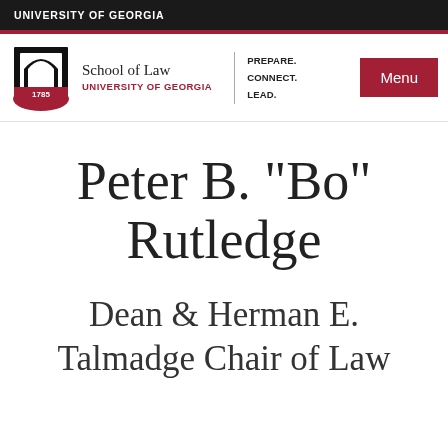UNIVERSITY OF GEORGIA
[Figure (logo): University of Georgia School of Law logo with arch and 1785]
School of Law
UNIVERSITY OF GEORGIA
PREPARE.
CONNECT.
LEAD.
Menu
Peter B. "Bo" Rutledge
Dean & Herman E. Talmadge Chair of Law